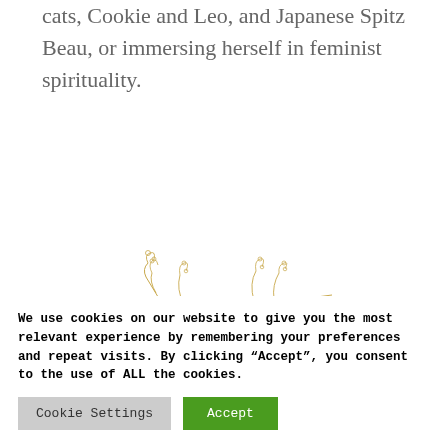cats, Cookie and Leo, and Japanese Spitz Beau, or immersing herself in feminist spirituality.
[Figure (illustration): Decorative golden/tan botanical branch illustration with swirling tendrils and small leaf/bud shapes, centered on the page]
We use cookies on our website to give you the most relevant experience by remembering your preferences and repeat visits. By clicking “Accept”, you consent to the use of ALL the cookies.